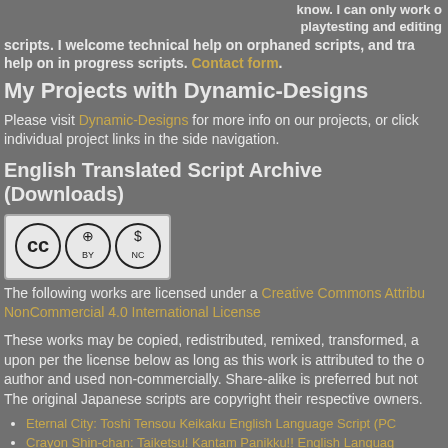know. I can only work on playtesting and editing scripts. I welcome technical help on orphaned scripts, and translation help on in progress scripts. Contact form.
My Projects with Dynamic-Designs
Please visit Dynamic-Designs for more info on our projects, or click individual project links in the side navigation.
English Translated Script Archive (Downloads)
[Figure (logo): Creative Commons BY-NC license badge]
The following works are licensed under a Creative Commons Attribution-NonCommercial 4.0 International License
These works may be copied, redistributed, remixed, transformed, and built upon per the license below as long as this work is attributed to the original author and used non-commercially. Share-alike is preferred but not required. The original Japanese scripts are copyright their respective owners.
Eternal City: Toshi Tensou Keikaku English Language Script (PC)
Crayon Shin-chan: Taiketsu! Kantam Panikku!! English Language Script (Game Gear)
Sherlock Holmes: Hakushaku Reijou Yuukai Jiken English Language Script (Famicom)
City Adventure Touch: Mystery of Triangle English Language Script (Famicom)
Outlanders English Language Script (Famicom)
Kyonshiizu 2 English Language Script (Hello Dracula 2?) (Eni...)